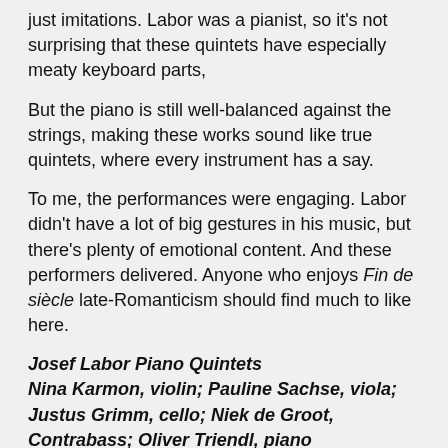just imitations. Labor was a pianist, so it's not surprising that these quintets have especially meaty keyboard parts,
But the piano is still well-balanced against the strings, making these works sound like true quintets, where every instrument has a say.
To me, the performances were engaging. Labor didn't have a lot of big gestures in his music, but there's plenty of emotional content. And these performers delivered. Anyone who enjoys Fin de siècle late-Romanticism should find much to like here.
Josef Labor Piano Quintets
Nina Karmon, violin; Pauline Sachse, viola; Justus Grimm, cello; Niek de Groot, Contrabass; Oliver Triendl, piano
Capriccio C5390